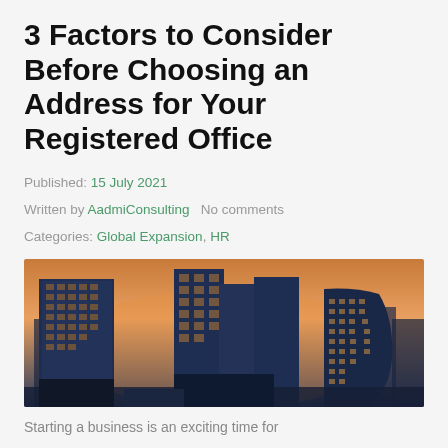3 Factors to Consider Before Choosing an Address for Your Registered Office
Published: 15 July 2021
Written by AadmiConsulting   No comments
Categories: Global Expansion, HR
[Figure (photo): Photograph of modern glass skyscrapers and office buildings at dusk/golden hour, showing large curved and angular glass facades lit from within.]
Starting a business is an exciting time for